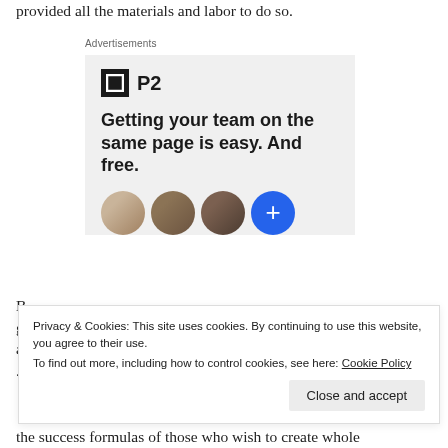provided all the materials and labor to do so.
[Figure (screenshot): Advertisement for P2 product. Shows P2 logo (dark square with grid icon), headline 'Getting your team on the same page is easy. And free.' with three circular avatar photos and a blue plus button at the bottom.]
Privacy & Cookies: This site uses cookies. By continuing to use this website, you agree to their use.
To find out more, including how to control cookies, see here: Cookie Policy
the success formulas of those who wish to create whole